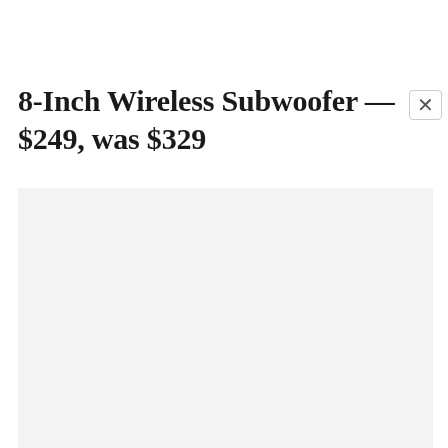8-Inch Wireless Subwoofer — $249, was $329
[Figure (photo): Light gray rectangular placeholder image area for product photo of 8-Inch Wireless Subwoofer]